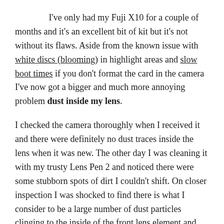I've only had my Fuji X10 for a couple of months and it's an excellent bit of kit but it's not without its flaws. Aside from the known issue with white discs (blooming) in highlight areas and slow boot times if you don't format the card in the camera I've now got a bigger and much more annoying problem dust inside my lens.
I checked the camera thoroughly when I received it and there were definitely no dust traces inside the lens when it was new. The other day I was cleaning it with my trusty Lens Pen 2 and noticed there were some stubborn spots of dirt I couldn't shift. On closer inspection I was shocked to find there is what I consider to be a large number of dust particles clinging to the inside of the front lens element and also to one of the inner lens elements.